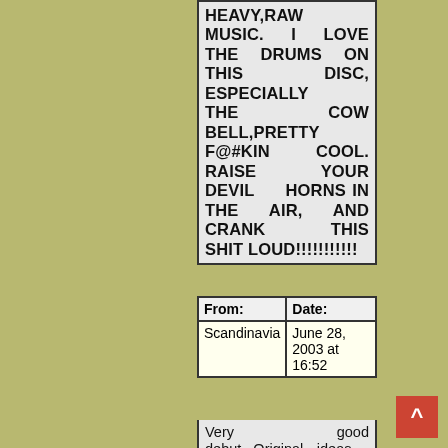HEAVY,RAW MUSIC. I LOVE THE DRUMS ON THIS DISC, ESPECIALLY THE COW BELL,PRETTY F@#KIN COOL. RAISE YOUR DEVIL HORNS IN THE AIR, AND CRANK THIS SHIT LOUD!!!!!!!!!!!
| From: | Date: |
| --- | --- |
| Scandinavia | June 28, 2003 at 16:52 |
Very good debut...Original ideas executed